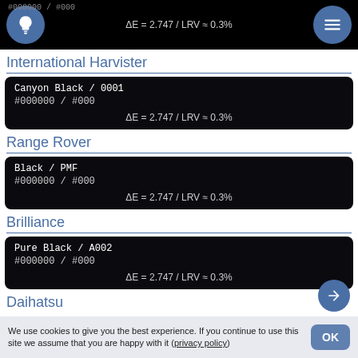#000000 / #000  ΔE = 2.747 / LRV ≈ 0.3%
International Harvister
Canyon Black / 0001
#000000 / #000
ΔE = 2.747 / LRV ≈ 0.3%
Range Rover
Black / PMF
#000000 / #000
ΔE = 2.747 / LRV ≈ 0.3%
Brilliance
Pure Black / A002
#000000 / #000
ΔE = 2.747 / LRV ≈ 0.3%
Daihatsu
We use cookies to give you the best experience. If you continue to use this site we assume that you are happy with it (privacy policy)